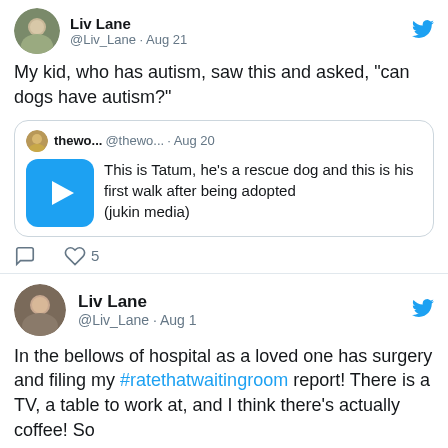[Figure (screenshot): First tweet from Liv Lane (@Liv_Lane, Aug 21) with profile avatar, tweet text about kid with autism asking if dogs can have autism, quoted tweet from @thewo... (Aug 20) with play button thumbnail and text about Tatum the rescue dog, and action icons (comment, like with 5)]
My kid, who has autism, saw this and asked, “can dogs have autism?”
[Figure (screenshot): Quoted tweet from thewo... @thewo... Aug 20 with play button and text: This is Tatum, he's a rescue dog and this is his first walk after being adopted (jukin media)]
[Figure (screenshot): Second tweet section from Liv Lane (@Liv_Lane, Aug 1) with profile photo and partial tweet text about being in hospital waiting room filing #ratethatwaitingroom report]
In the bellows of hospital as a loved one has surgery and filing my #ratethatwaitingroom report! There is a TV, a table to work at, and I think there's actually coffee! So